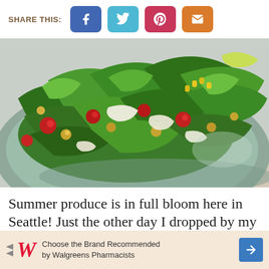SHARE THIS:
[Figure (photo): A close-up photo of a fresh green salad in a gray bowl, featuring arugula leaves, cherry tomatoes, chickpeas, corn, and shaved parmesan cheese]
Summer produce is in full bloom here in Seattle! Just the other day I dropped by my
[Figure (other): Walgreens advertisement banner: 'Choose the Brand Recommended by Walgreens Pharmacists' with Walgreens logo and navigation arrow]